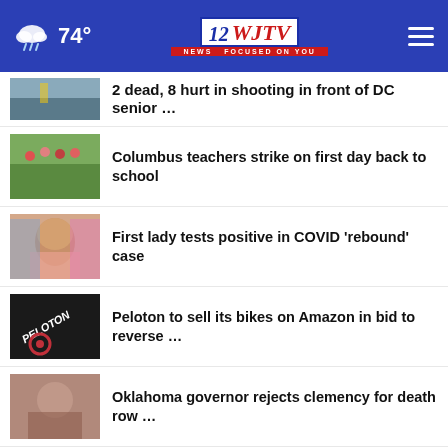WJTV 12 News — 74° weather
2 dead, 8 hurt in shooting in front of DC senior …
Columbus teachers strike on first day back to school
First lady tests positive in COVID 'rebound' case
Peloton to sell its bikes on Amazon in bid to reverse …
Oklahoma governor rejects clemency for death row …
Company pledges to reduce Puerto …
EXPLAINED: NASA tests new …
Veterans, you're not alone.